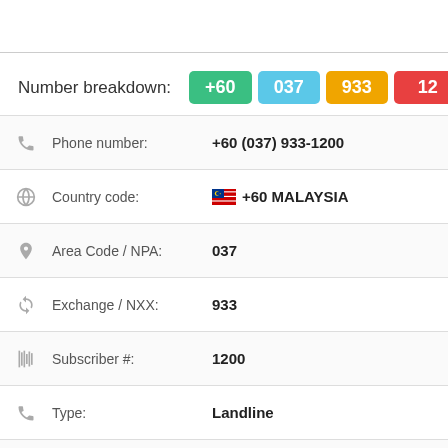Number breakdown: +60 | 037 | 933 | 12...
| Field | Value |
| --- | --- |
| Phone number: | +60 (037) 933-1200 |
| Country code: | +60 MALAYSIA |
| Area Code / NPA: | 037 |
| Exchange / NXX: | 933 |
| Subscriber #: | 1200 |
| Type: | Landline |
| Carrier / Provider: | N/A |
| Name: | Hidden |
| Address: | Not specified |
| See also: | Get Complete Report |